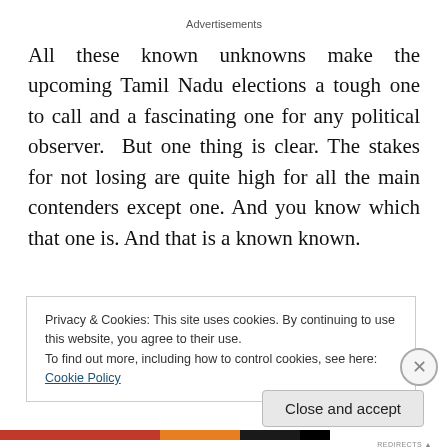Advertisements
All these known unknowns make the upcoming Tamil Nadu elections a tough one to call and a fascinating one for any political observer.  But one thing is clear. The stakes for not losing are quite high for all the main contenders except one. And you know which that one is. And that is a known known.
Privacy & Cookies: This site uses cookies. By continuing to use this website, you agree to their use.
To find out more, including how to control cookies, see here: Cookie Policy
Close and accept